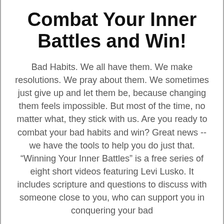Combat Your Inner Battles and Win!
Bad Habits. We all have them. We make resolutions. We pray about them. We sometimes just give up and let them be, because changing them feels impossible. But most of the time, no matter what, they stick with us. Are you ready to combat your bad habits and win? Great news -- we have the tools to help you do just that. "Winning Your Inner Battles" is a free series of eight short videos featuring Levi Lusko. It includes scripture and questions to discuss with someone close to you, who can support you in conquering your bad